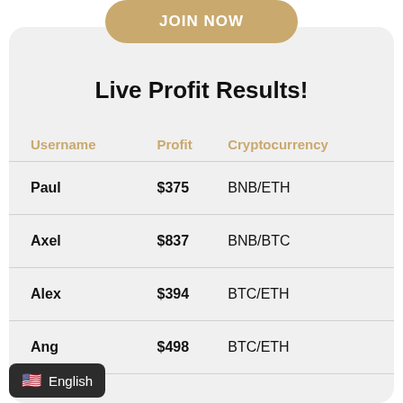JOIN NOW
Live Profit Results!
| Username | Profit | Cryptocurrency |
| --- | --- | --- |
| Paul | $375 | BNB/ETH |
| Axel | $837 | BNB/BTC |
| Alex | $394 | BTC/ETH |
| Ang... | $498 | BTC/ETH |
English